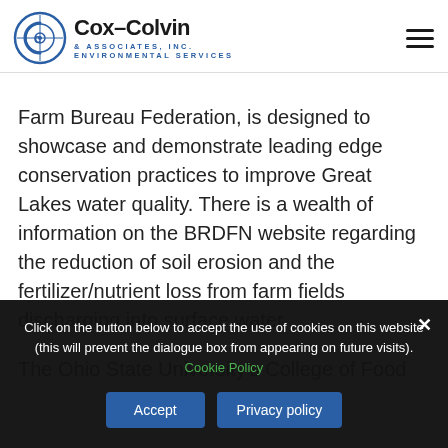Cox-Colvin & Associates, Inc. Environmental Services
Farm Bureau Federation, is designed to showcase and demonstrate leading edge conservation practices to improve Great Lakes water quality. There is a wealth of information on the BRDFN website regarding the reduction of soil erosion and the fertilizer/nutrient loss from farm fields discharging into surface water.
The Ohio State University's College of Food
Click on the button below to accept the use of cookies on this website (this will prevent the dialogue box from appearing on future visits). Cookie Policy
Accept
Privacy policy